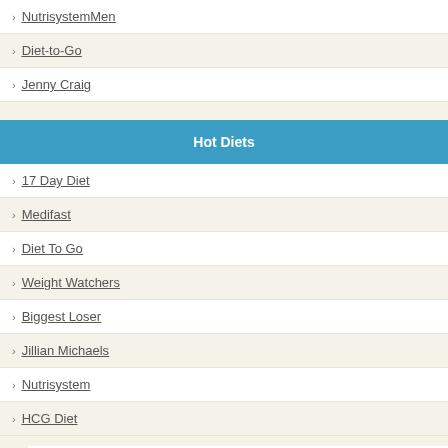NutrisystemMen
Diet-to-Go
Jenny Craig
Hot Diets
17 Day Diet
Medifast
Diet To Go
Weight Watchers
Biggest Loser
Jillian Michaels
Nutrisystem
HCG Diet
Privacy Notice
Mission